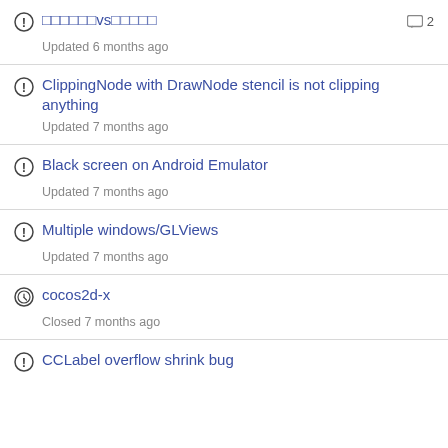□□□□□□vs□□□□□ — Updated 6 months ago — 2 comments
ClippingNode with DrawNode stencil is not clipping anything — Updated 7 months ago
Black screen on Android Emulator — Updated 7 months ago
Multiple windows/GLViews — Updated 7 months ago
cocos2d-x — Closed 7 months ago
CCLabel overflow shrink bug